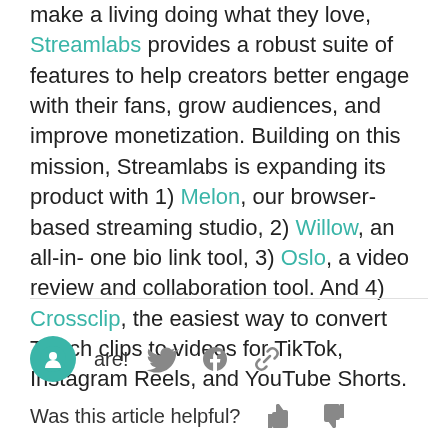make a living doing what they love, Streamlabs provides a robust suite of features to help creators better engage with their fans, grow audiences, and improve monetization. Building on this mission, Streamlabs is expanding its product with 1) Melon, our browser-based streaming studio, 2) Willow, an all-in-one bio link tool, 3) Oslo, a video review and collaboration tool. And 4) Crossclip, the easiest way to convert Twitch clips to videos for TikTok, Instagram Reels, and YouTube Shorts.
Share! Was this article helpful?